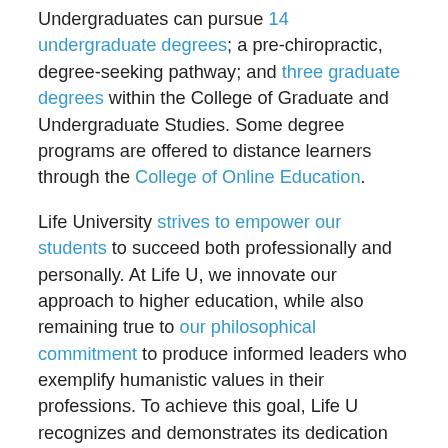Undergraduates can pursue 14 undergraduate degrees; a pre-chiropractic, degree-seeking pathway; and three graduate degrees within the College of Graduate and Undergraduate Studies. Some degree programs are offered to distance learners through the College of Online Education.
Life University strives to empower our students to succeed both professionally and personally. At Life U, we innovate our approach to higher education, while also remaining true to our philosophical commitment to produce informed leaders who exemplify humanistic values in their professions. To achieve this goal, Life U recognizes and demonstrates its dedication through three official Life University Values: Lasting Purpose, Vitalism and Integrity.
Life U's 110-acre campus in Marietta, Georgia, just